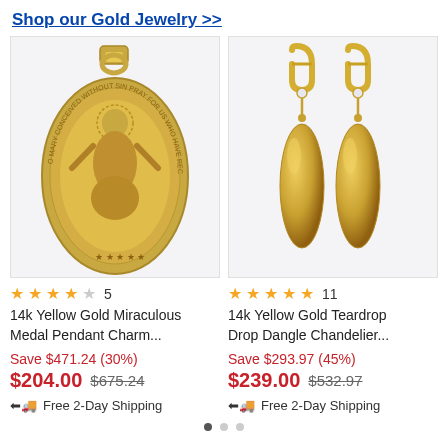Shop our Gold Jewelry >>
[Figure (photo): 14k Yellow Gold Miraculous Medal Pendant Charm with religious figure engraving on gold oval background]
[Figure (photo): 14k Yellow Gold Teardrop Drop Dangle Chandelier Earrings with leverback clasp and diamond accent]
★★★★☆  5
14k Yellow Gold Miraculous Medal Pendant Charm...
Save $471.24 (30%)
$204.00  $675.24
🚚 Free 2-Day Shipping
★★★★★  11
14k Yellow Gold Teardrop Drop Dangle Chandelier...
Save $293.97 (45%)
$239.00  $532.97
🚚 Free 2-Day Shipping